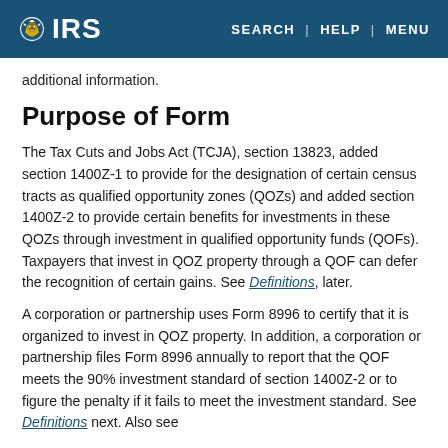IRS — SEARCH | HELP | MENU
additional information.
Purpose of Form
The Tax Cuts and Jobs Act (TCJA), section 13823, added section 1400Z-1 to provide for the designation of certain census tracts as qualified opportunity zones (QOZs) and added section 1400Z-2 to provide certain benefits for investments in these QOZs through investment in qualified opportunity funds (QOFs). Taxpayers that invest in QOZ property through a QOF can defer the recognition of certain gains. See Definitions, later.
A corporation or partnership uses Form 8996 to certify that it is organized to invest in QOZ property. In addition, a corporation or partnership files Form 8996 annually to report that the QOF meets the 90% investment standard of section 1400Z-2 or to figure the penalty if it fails to meet the investment standard. See Definitions next. Also see